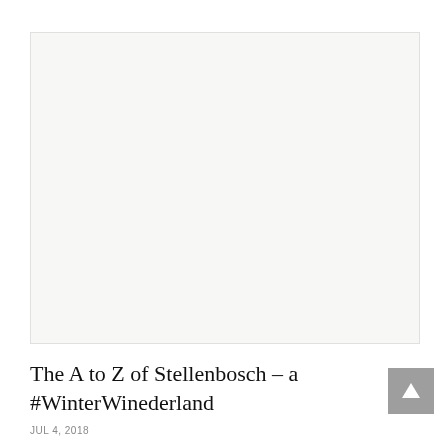[Figure (photo): Blank/white image placeholder area with light gray background]
The A to Z of Stellenbosch – a #WinterWinederland
JUL 4, 2018